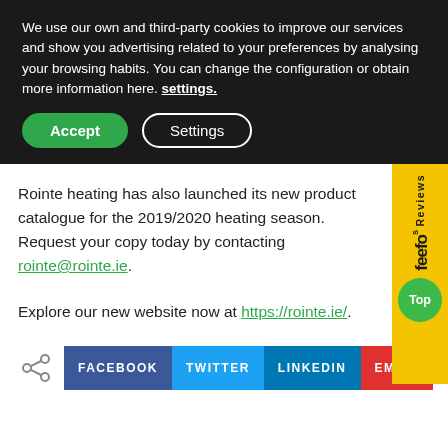We use our own and third-party cookies to improve our services and show you advertising related to your preferences by analysing your browsing habits. You can change the configuration or obtain more information here. settings.
Accept   Settings
Rointe heating has also launched its new product catalogue for the 2019/2020 heating season. Request your copy today by contacting rointe@rointe.ie.
Explore our new website now at https://rointe.ie/.
[Figure (infographic): Feefo Reviews badge: yellow vertical banner with 'Reviews' text, feefo logo text, and a green circle with 'Top' text inside.]
FACEBOOK   TWITTER   LINKEDIN   EMAIL